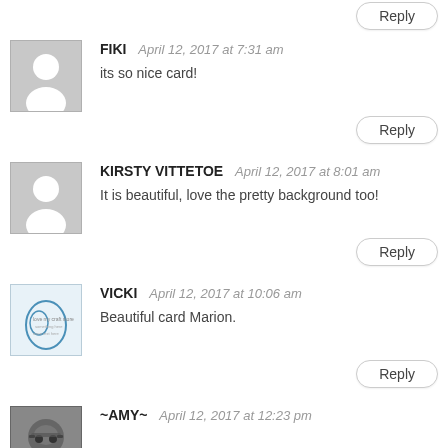Reply (top, partial)
FIKI  April 12, 2017 at 7:31 am
its so nice card!
Reply
KIRSTY VITTETOE  April 12, 2017 at 8:01 am
It is beautiful, love the pretty background too!
Reply
VICKI  April 12, 2017 at 10:06 am
Beautiful card Marion.
Reply
~AMY~  April 12, 2017 at 12:23 pm